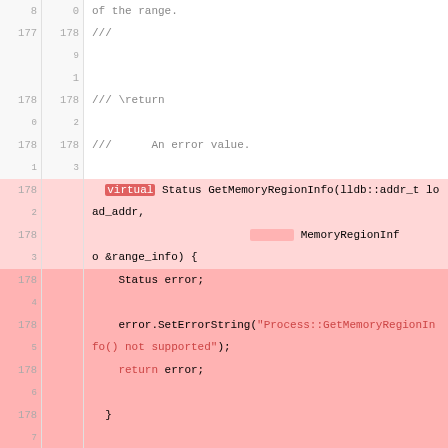[Figure (screenshot): Code diff view showing C++ source lines with red (deleted) and green (added) highlighting. Left column shows old line numbers, right column shows new line numbers, code content on right side.]